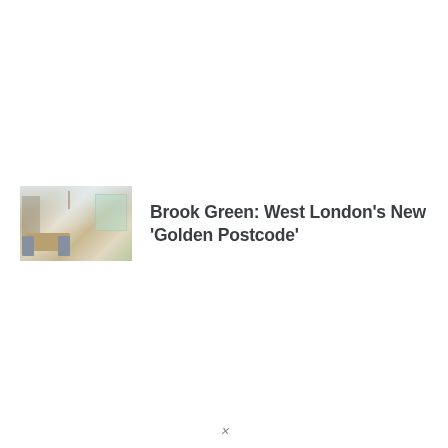[Figure (photo): Interior photo of a bright open-plan living/dining room with wooden flooring, dining table and chairs, pendant light, and bookshelf]
Brook Green: West London's New 'Golden Postcode'